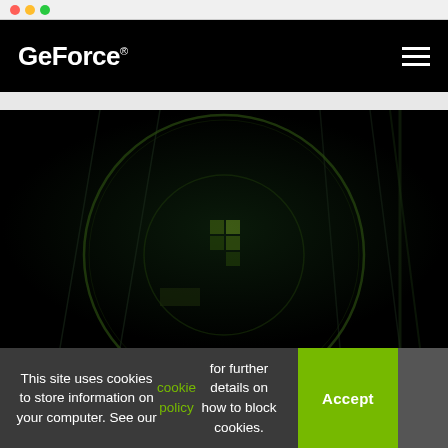GeForce
[Figure (screenshot): Dark sci-fi themed hero image with a circular glowing green ring design and small green pixel/block elements in the center, on a very dark black background with diagonal geometric lines]
This site uses cookies to store information on your computer. See our cookie policy for further details on how to block cookies.